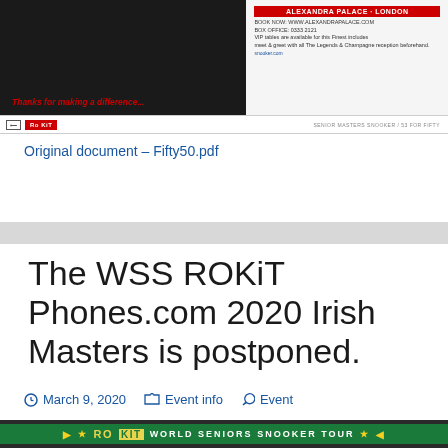[Figure (screenshot): Top banner image showing a dark background on the left with red italic text 'Thanks for making a difference...' and a RoKit logo badge, and a light panel on the right with event details for Alexandra Palace London. Bottom strip shows SENIOR MASTERS SNOOKER / 53 FOR FIFTY text.]
Original document – Fifty50.pdf
The WSS ROKiT Phones.com 2020 Irish Masters is postponed.
March 9, 2020   Event info   Event
[Figure (screenshot): Bottom banner image showing the ROKiT World Seniors Snooker Tour green banner with gold stars and arrows.]